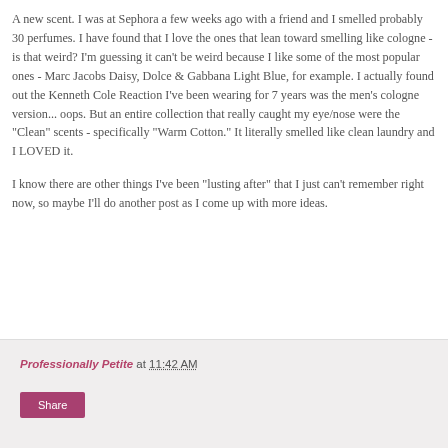A new scent. I was at Sephora a few weeks ago with a friend and I smelled probably 30 perfumes. I have found that I love the ones that lean toward smelling like cologne - is that weird? I'm guessing it can't be weird because I like some of the most popular ones - Marc Jacobs Daisy, Dolce & Gabbana Light Blue, for example. I actually found out the Kenneth Cole Reaction I've been wearing for 7 years was the men's cologne version... oops. But an entire collection that really caught my eye/nose were the "Clean" scents - specifically "Warm Cotton." It literally smelled like clean laundry and I LOVED it.
I know there are other things I've been "lusting after" that I just can't remember right now, so maybe I'll do another post as I come up with more ideas.
Professionally Petite at 11:42 AM  Share